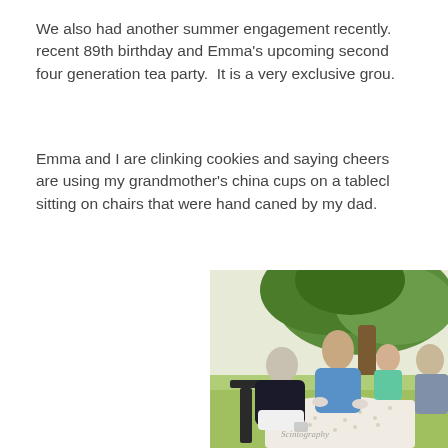We also had another summer engagement recently. recent 89th birthday and Emma's upcoming second four generation tea party.  It is a very exclusive grou.
Emma and I are clinking cookies and saying cheers are using my grandmother's china cups on a tablecl sitting on chairs that were hand caned by my dad.
[Figure (photo): Outdoor tea party scene with multiple generations of women sitting around a table with a white lace tablecloth under a large tree, with green lawn in background. A watermark reading 'Scintography' is visible.]